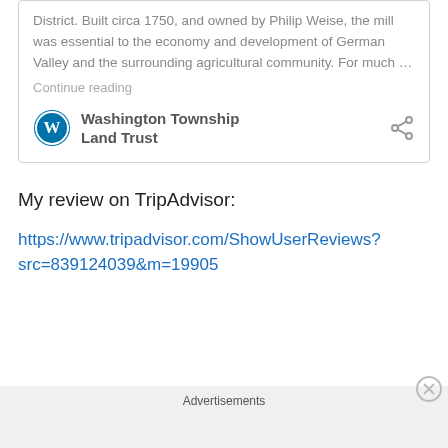District. Built circa 1750, and owned by Philip Weise, the mill was essential to the economy and development of German Valley and the surrounding agricultural community. For much …
Continue reading
Washington Township Land Trust
My review on TripAdvisor:
https://www.tripadvisor.com/ShowUserReviews?src=839124039&m=19905
Advertisements